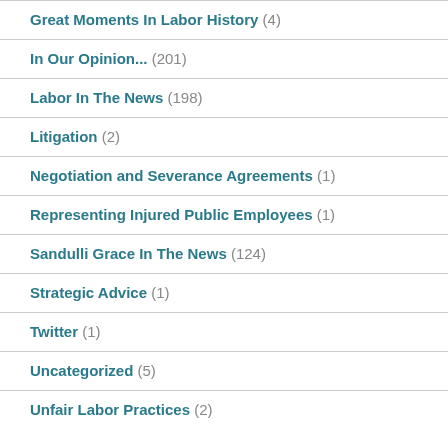Great Moments In Labor History (4)
In Our Opinion... (201)
Labor In The News (198)
Litigation (2)
Negotiation and Severance Agreements (1)
Representing Injured Public Employees (1)
Sandulli Grace In The News (124)
Strategic Advice (1)
Twitter (1)
Uncategorized (5)
Unfair Labor Practices (2)